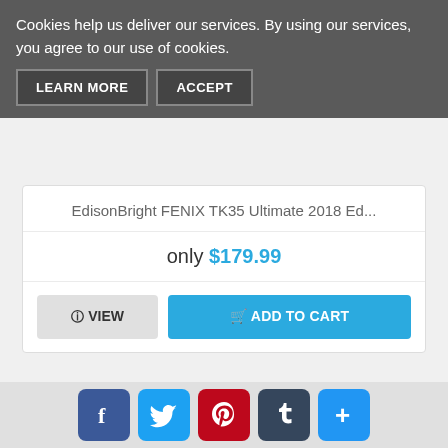Cookies help us deliver our services. By using our services, you agree to our use of cookies.
LEARN MORE  ACCEPT
EdisonBright FENIX TK35 Ultimate 2018 Ed...
only $179.99
VIEW   ADD TO CART
[Figure (photo): Red flashlight with carabiner clip]
Facebook, Twitter, Pinterest, Tumblr, Plus social share buttons